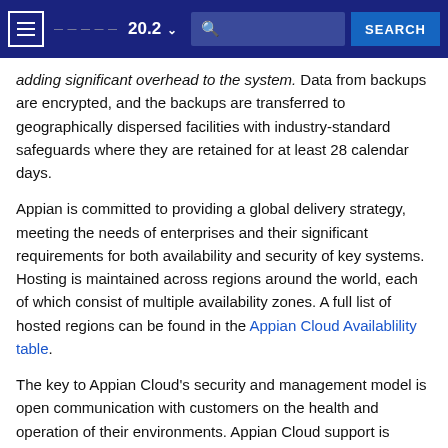Navigation bar with menu button, logo, version 20.2, search field, and SEARCH button
adding significant overhead to the system. Data from backups are encrypted, and the backups are transferred to geographically dispersed facilities with industry-standard safeguards where they are retained for at least 28 calendar days.
Appian is committed to providing a global delivery strategy, meeting the needs of enterprises and their significant requirements for both availability and security of key systems. Hosting is maintained across regions around the world, each of which consist of multiple availability zones. A full list of hosted regions can be found in the Appian Cloud Availablility table.
The key to Appian Cloud's security and management model is open communication with customers on the health and operation of their environments. Appian Cloud support is distributed across three regions globally to ensure continuity of support operations.